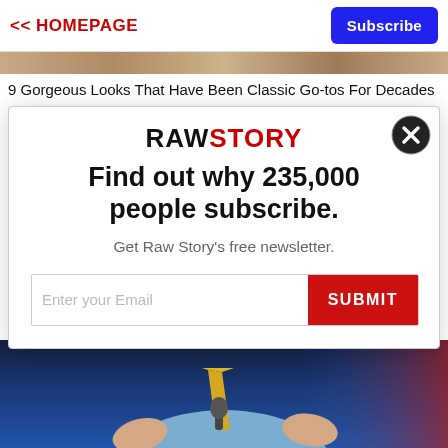<< HOMEPAGE
Subscribe
9 Gorgeous Looks That Have Been Classic Go-tos For Decades
[Figure (other): Raw Story newsletter subscription modal popup with logo, headline, email input field, and submit button]
[Figure (photo): Photo of a man in a light blue shirt with yellow tie, holding a microphone, against a dark blue background]